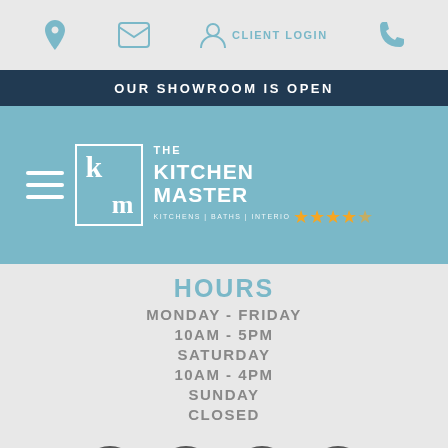[Figure (screenshot): Top navigation bar with icons: location pin, envelope, client login (person icon), and phone icon on a light grey background]
OUR SHOWROOM IS OPEN
[Figure (logo): The Kitchen Master logo: KM monogram in a white border box, brand name THE KITCHEN MASTER in white, tagline KITCHENS | BATHS | INTERIORS, followed by 4.5 gold stars]
HOURS
MONDAY - FRIDAY
10AM - 5PM
SATURDAY
10AM - 4PM
SUNDAY
CLOSED
[Figure (infographic): Social media icons in dark grey circles: Facebook, Houzz, Pinterest, YouTube]